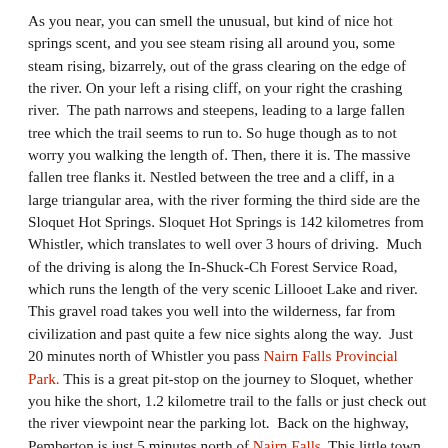As you near, you can smell the unusual, but kind of nice hot springs scent, and you see steam rising all around you, some steam rising, bizarrely, out of the grass clearing on the edge of the river. On your left a rising cliff, on your right the crashing river.  The path narrows and steepens, leading to a large fallen tree which the trail seems to run to. So huge though as to not worry you walking the length of. Then, there it is. The massive fallen tree flanks it. Nestled between the tree and a cliff, in a large triangular area, with the river forming the third side are the Sloquet Hot Springs. Sloquet Hot Springs is 142 kilometres from Whistler, which translates to well over 3 hours of driving.  Much of the driving is along the In-Shuck-Ch Forest Service Road, which runs the length of the very scenic Lillooet Lake and river. This gravel road takes you well into the wilderness, far from civilization and past quite a few nice sights along the way.  Just 20 minutes north of Whistler you pass Nairn Falls Provincial Park. This is a great pit-stop on the journey to Sloquet, whether you hike the short, 1.2 kilometre trail to the falls or just check out the river viewpoint near the parking lot.  Back on the highway, Pemberton is just 5 minutes north of Nairn Falls. This little town is your last chance for gas, food, alcohol, ect before Sloquet. Continuing through